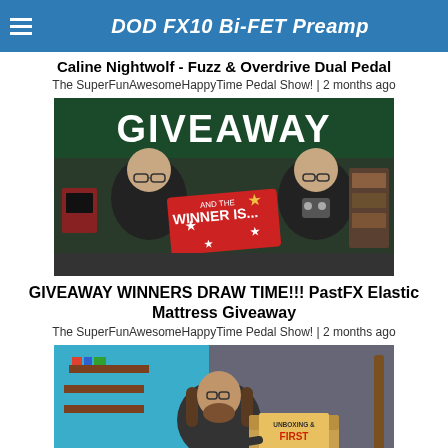DOD FX10 Bi-FET Preamp
Caline Nightwolf - Fuzz & Overdrive Dual Pedal
The SuperFunAwesomeHappyTime Pedal Show! | 2 months ago
[Figure (photo): Two men sitting in a music studio with a GIVEAWAY banner behind them, one holding a guitar pedal. A red sign reads 'AND THE WINNER IS...' with stars.]
GIVEAWAY WINNERS DRAW TIME!!! PastFX Elastic Mattress Giveaway
The SuperFunAwesomeHappyTime Pedal Show! | 2 months ago
[Figure (photo): A man with long hair and beard in a music room holding a cardboard box with a sign reading 'UNBOXING & FIRST IMPRESSIONS'.]